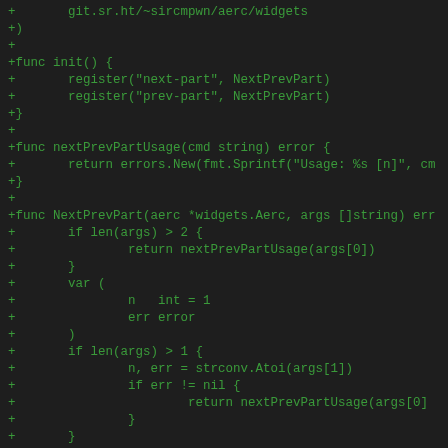Code diff showing Go source file with functions init(), nextPrevPartUsage(), and NextPrevPart() for aerc email client widget navigation